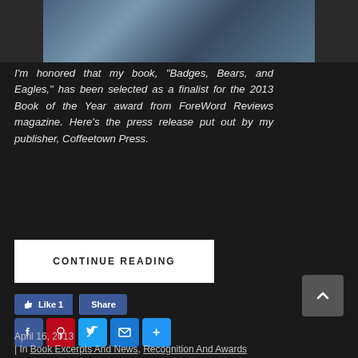[Figure (photo): Photo strip showing people at what appears to be a book signing or store event]
I'm honored that my book, "Badges, Bears, and Eagles," has been selected as a finalist for the 2013 Book of the Year award from ForeWord Reviews magazine. Here's the press release put out by my publisher, Coffeetown Press.
CONTINUE READING
Like 1   Share
Facebook Pinterest Twitter Email Share
April 16, 2013
| In Book Excerpts And News, Recognition And Awards